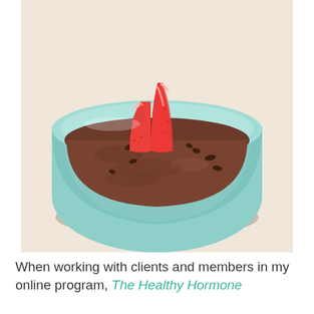[Figure (photo): A light blue ceramic bowl filled with chocolate oatmeal or chia pudding topped with sliced fresh strawberries and cocoa nibs, photographed from above on a light beige surface.]
When working with clients and members in my online program, The Healthy Hormone